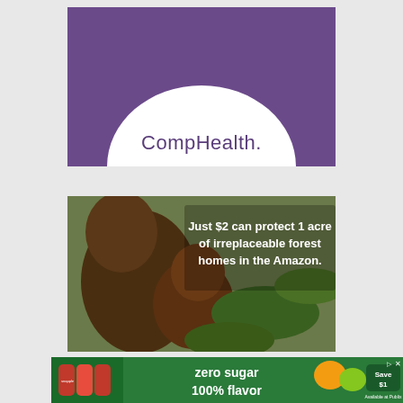[Figure (logo): CompHealth logo advertisement: purple rectangle background with a white semicircle at the bottom containing the text 'CompHealth.']
[Figure (photo): Wildlife conservation advertisement showing two brown capuchin monkeys in Amazon forest foliage with white bold text overlay reading: 'Just $2 can protect 1 acre of irreplaceable forest homes in the Amazon.']
[Figure (photo): Snapple advertisement banner: 'zero sugar 100% flavor' with Snapple bottles shown on left, peach and apple fruit images, and a green 'Save $1' button on the right with 'Available at Publix' text.]